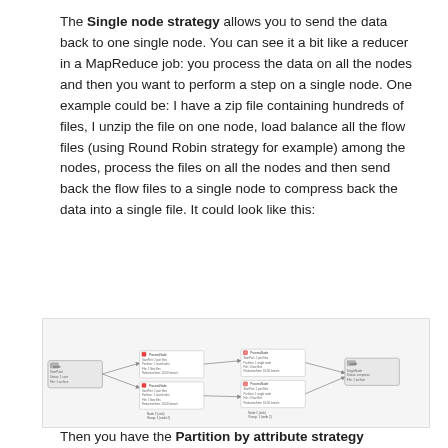The Single node strategy allows you to send the data back to one single node. You can see it a bit like a reducer in a MapReduce job: you process the data on all the nodes and then you want to perform a step on a single node. One example could be: I have a zip file containing hundreds of files, I unzip the file on one node, load balance all the flow files (using Round Robin strategy for example) among the nodes, process the files on all the nodes and then send back the flow files to a single node to compress back the data into a single file. It could look like this:
[Figure (flowchart): A flowchart diagram showing a single node strategy with multiple processing nodes connected by arrows, showing data flow from a single node out to multiple nodes and back to a single node.]
Then you have the Partition by attribute strategy